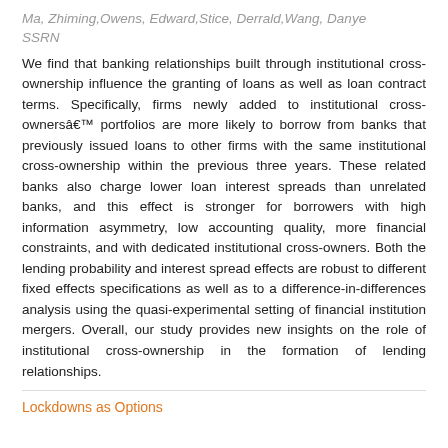Ma, Zhiming, Owens, Edward, Stice, Derrald, Wang, Danye
SSRN
We find that banking relationships built through institutional cross-ownership influence the granting of loans as well as loan contract terms. Specifically, firms newly added to institutional cross-ownersâ€™ portfolios are more likely to borrow from banks that previously issued loans to other firms with the same institutional cross-ownership within the previous three years. These related banks also charge lower loan interest spreads than unrelated banks, and this effect is stronger for borrowers with high information asymmetry, low accounting quality, more financial constraints, and with dedicated institutional cross-owners. Both the lending probability and interest spread effects are robust to different fixed effects specifications as well as to a difference-in-differences analysis using the quasi-experimental setting of financial institution mergers. Overall, our study provides new insights on the role of institutional cross-ownership in the formation of lending relationships.
Lockdowns as Options